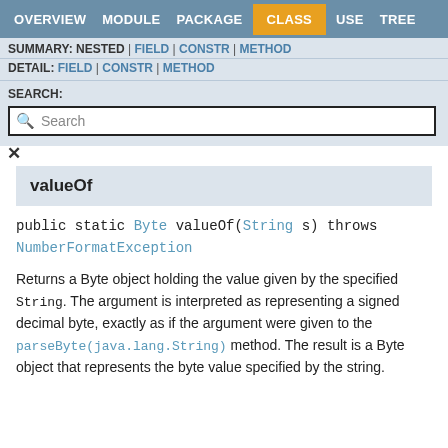OVERVIEW  MODULE  PACKAGE  CLASS  USE  TREE
SUMMARY: NESTED | FIELD | CONSTR | METHOD
DETAIL: FIELD | CONSTR | METHOD
SEARCH:
valueOf
public static Byte valueOf(String s) throws NumberFormatException
Returns a Byte object holding the value given by the specified String. The argument is interpreted as representing a signed decimal byte, exactly as if the argument were given to the parseByte(java.lang.String) method. The result is a Byte object that represents the byte value specified by the string.